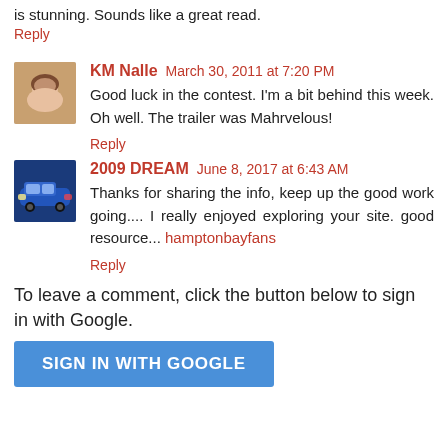is stunning. Sounds like a great read.
Reply
KM Nalle  March 30, 2011 at 7:20 PM
Good luck in the contest. I'm a bit behind this week. Oh well. The trailer was Mahrvelous!
Reply
2009 DREAM  June 8, 2017 at 6:43 AM
Thanks for sharing the info, keep up the good work going.... I really enjoyed exploring your site. good resource... hamptonbayfans
Reply
To leave a comment, click the button below to sign in with Google.
SIGN IN WITH GOOGLE